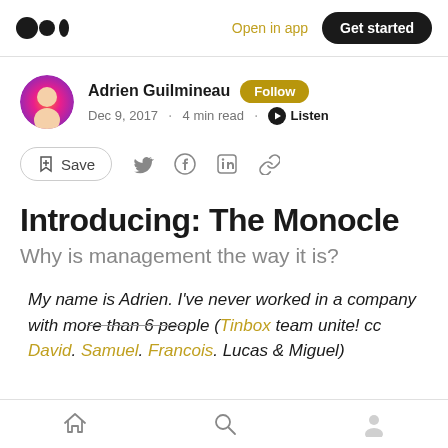Open in app · Get started
Adrien Guilmineau · Follow · Dec 9, 2017 · 4 min read · Listen
Introducing: The Monocle
Why is management the way it is?
My name is Adrien. I've never worked in a company with more than 6 people (Tinbox team unite! cc David. Samuel. Francois. Lucas & Miguel)
Home · Search · Profile